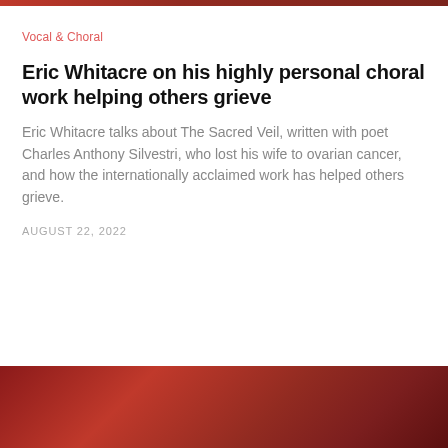Vocal & Choral
Eric Whitacre on his highly personal choral work helping others grieve
Eric Whitacre talks about The Sacred Veil, written with poet Charles Anthony Silvestri, who lost his wife to ovarian cancer, and how the internationally acclaimed work has helped others grieve.
AUGUST 22, 2022
[Figure (photo): Red/dark crimson fabric or background image at the bottom of the page]